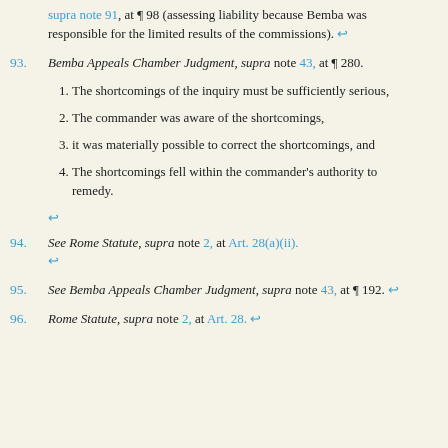supra note 91, at ¶ 98 (assessing liability because Bemba was responsible for the limited results of the commissions). ↩
93. Bemba Appeals Chamber Judgment, supra note 43, at ¶ 280.
1. The shortcomings of the inquiry must be sufficiently serious,
2. The commander was aware of the shortcomings,
3. it was materially possible to correct the shortcomings, and
4. The shortcomings fell within the commander's authority to remedy. ↩
94. See Rome Statute, supra note 2, at Art. 28(a)(ii). ↩
95. See Bemba Appeals Chamber Judgment, supra note 43, at ¶ 192. ↩
96. Rome Statute, supra note 2, at Art. 28. ↩